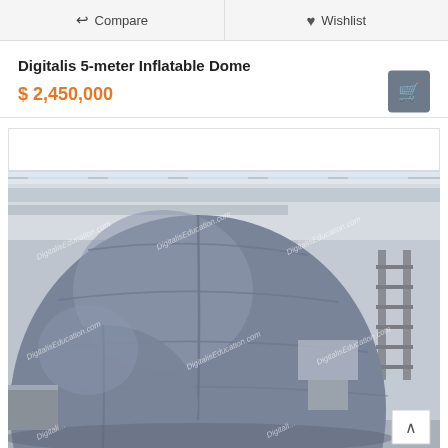Compare   Wishlist
Digitalis 5-meter Inflatable Dome
$ 2,450,000
[Figure (photo): Photo of a large dark blue inflatable dome structure inside a warehouse/industrial building. The dome is nearly spherical, made of segmented dark blue/grey fabric panels stitched together. The warehouse interior shows white walls, ceiling lights, ductwork, and a ladder/scaffolding structure on the right side. Multiple watermarks reading 'DigitalisEducation.com' appear diagonally across the image.]